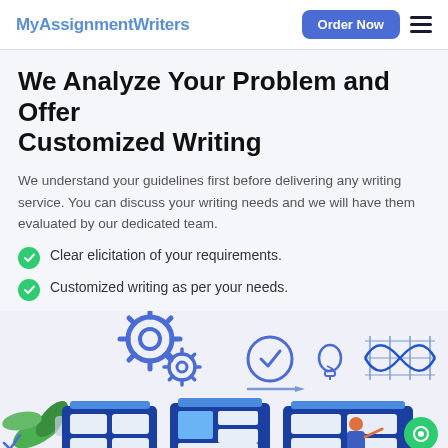MyAssignmentWriters | Order Now
We Analyze Your Problem and Offer Customized Writing
We understand your guidelines first before delivering any writing service. You can discuss your writing needs and we will have them evaluated by our dedicated team.
Clear elicitation of your requirements.
Customized writing as per your needs.
[Figure (illustration): Illustration of a workspace with gear icons, a clock, a lightbulb, wave/infinity diagrams, green plant leaves, and three blue kanban-style boards with a person pointing at one. Bottom-right has a green chat bubble icon.]